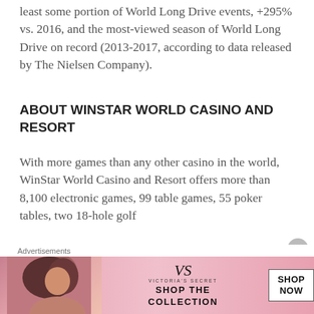least some portion of World Long Drive events, +295% vs. 2016, and the most-viewed season of World Long Drive on record (2013-2017, according to data released by The Nielsen Company).
ABOUT WINSTAR WORLD CASINO AND RESORT
With more games than any other casino in the world, WinStar World Casino and Resort offers more than 8,100 electronic games, 99 table games, 55 poker tables, two 18-hole golf
[Figure (other): Victoria's Secret advertisement banner with pink background, model silhouette on left, VS logo in center, 'SHOP THE COLLECTION' text, and 'SHOP NOW' button]